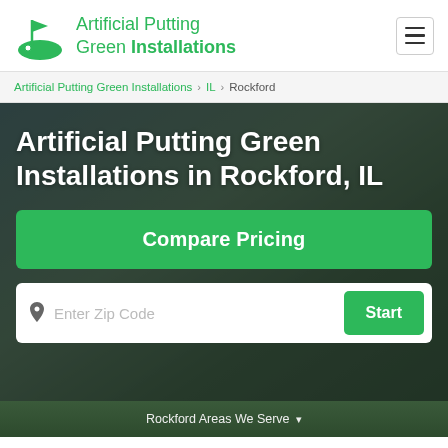[Figure (logo): Artificial Putting Green Installations logo with green golf flag and mound icon]
Artificial Putting Green Installations
Artificial Putting Green Installations > IL > Rockford
Artificial Putting Green Installations in Rockford, IL
Compare Pricing
Enter Zip Code
Start
Rockford Areas We Serve ▾